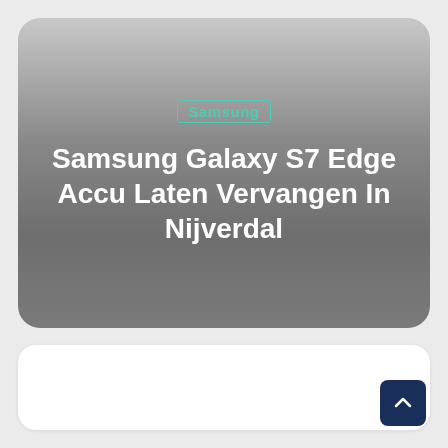Samsung
Samsung Galaxy S7 Edge Accu Laten Vervangen In Nijverdal
[Figure (other): White rounded card placeholder area below the main header card]
[Figure (other): Dark blue scroll-to-top button with upward arrow in bottom right corner]